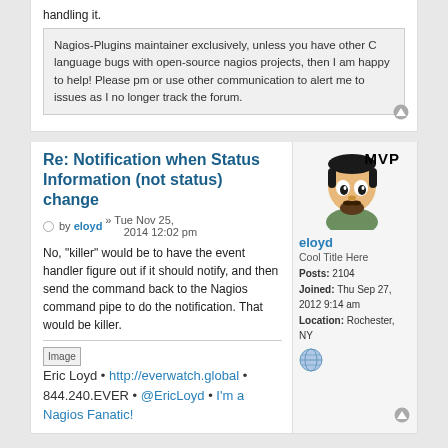handling it.
Nagios-Plugins maintainer exclusively, unless you have other C language bugs with open-source nagios projects, then I am happy to help! Please pm or use other communication to alert me to issues as I no longer track the forum.
Re: Notification when Status Information (not status) change
by eloyd » Tue Nov 25, 2014 12:02 pm
No, "killer" would be to have the event handler figure out if it should notify, and then send the command back to the Nagios command pipe to do the notification. That would be killer.
Eric Loyd • http://everwatch.global • 844.240.EVER • @EricLoyd • I'm a Nagios Fanatic!
eloyd
Cool Title Here
Posts: 2104
Joined: Thu Sep 27, 2012 9:14 am
Location: Rochester, NY